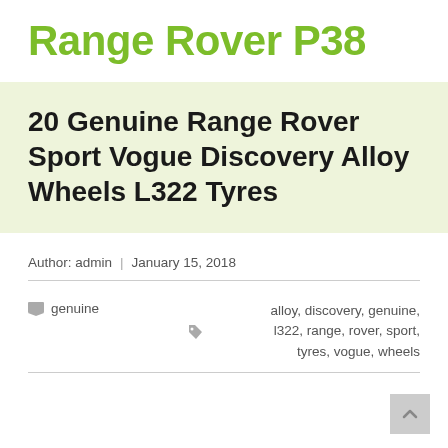Range Rover P38
20 Genuine Range Rover Sport Vogue Discovery Alloy Wheels L322 Tyres
Author: admin | January 15, 2018
genuine
alloy, discovery, genuine, l322, range, rover, sport, tyres, vogue, wheels